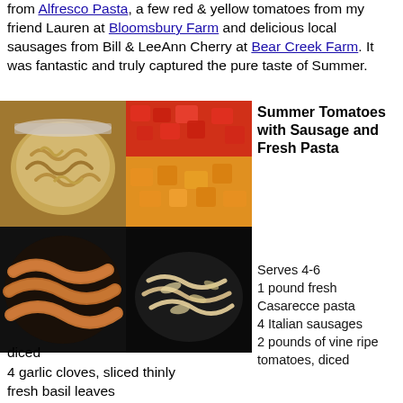from Alfresco Pasta, a few red & yellow tomatoes from my friend Lauren at Bloomsbury Farm and delicious local sausages from Bill & LeeAnn Cherry at Bear Creek Farm. It was fantastic and truly captured the pure taste of Summer.
[Figure (photo): Bowl of fresh Casarecce pasta]
[Figure (photo): Diced red and yellow tomatoes on a wooden cutting board]
[Figure (photo): Italian sausages cooking in a dark cast iron pan]
[Figure (photo): Pasta dish cooking in a cast iron pan with cheese and toppings]
Summer Tomatoes with Sausage and Fresh Pasta
Serves 4-6
1 pound fresh Casarecce pasta
4 Italian sausages
2 pounds of vine ripe tomatoes, diced
4 garlic cloves, sliced thinly
fresh basil leaves